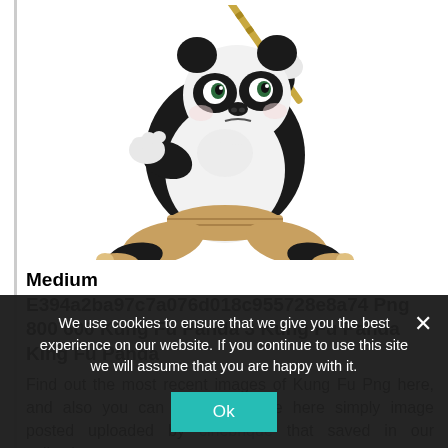[Figure (illustration): Kung Fu Panda (Po) in a martial arts stance holding a bamboo staff, animated 3D character with black and white coloring wearing a brown belt]
Medium E394a2ba97c7a076d018c955728e8a74 Png 800 600 Kung Fu Panda 3 Kung Fu Panda King Fu Panda
Find out the most recent images of Kung Fu Png here, and also you can get the image here simply image posted uploaded by cinebrique that saved in our collection.
We use cookies to ensure that we give you the best experience on our website. If you continue to use this site we will assume that you are happy with it.